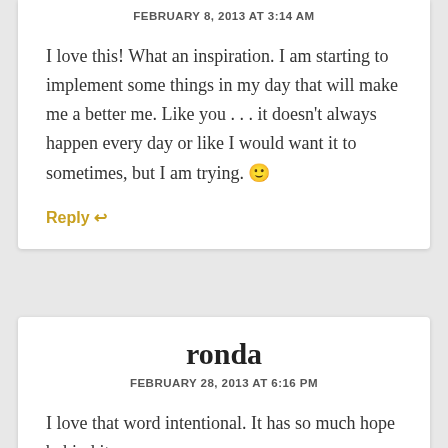FEBRUARY 8, 2013 AT 3:14 AM
I love this! What an inspiration. I am starting to implement some things in my day that will make me a better me. Like you . . . it doesn't always happen every day or like I would want it to sometimes, but I am trying. 🙂
Reply ↩
ronda
FEBRUARY 28, 2013 AT 6:16 PM
I love that word intentional. It has so much hope behind it.